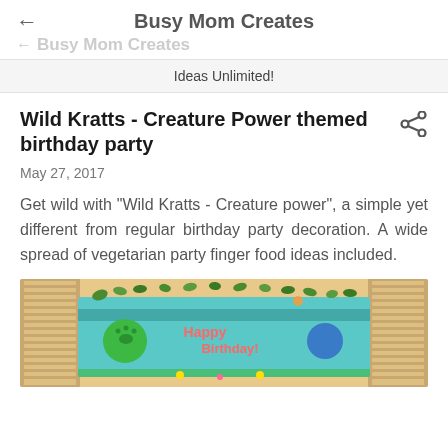Busy Mom Creates
Busy Mom Creates
Ideas Unlimited!
Wild Kratts - Creature Power themed birthday party
May 27, 2017
Get wild with "Wild Kratts - Creature power", a simple yet different from regular birthday party decoration. A wide spread of vegetarian party finger food ideas included.
[Figure (photo): Birthday party decoration with a teal/blue Happy Birthday banner, green circle decorations, leaf garlands, and blinds on either side]